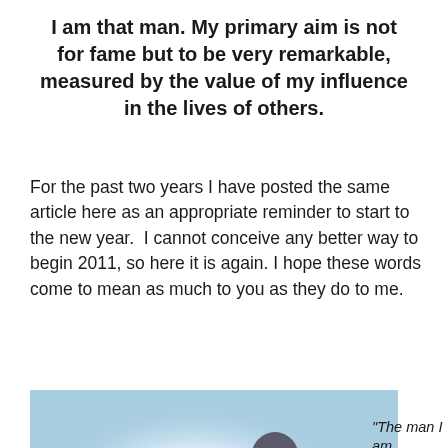I am that man. My primary aim is not for fame but to be very remarkable, measured by the value of my influence in the lives of others.
For the past two years I have posted the same article here as an appropriate reminder to start to the new year.  I cannot conceive any better way to begin 2011, so here it is again. I hope these words come to mean as much to you as they do to me.
[Figure (photo): A person viewed from behind, wearing a white t-shirt, facing a bright light against a blue background.]
“The man I am